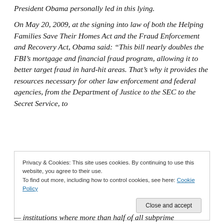President Obama personally led in this lying.
On May 20, 2009, at the signing into law of both the Helping Families Save Their Homes Act and the Fraud Enforcement and Recovery Act, Obama said: “This bill nearly doubles the FBI’s mortgage and financial fraud program, allowing it to better target fraud in hard-hit areas. That’s why it provides the resources necessary for other law enforcement and federal agencies, from the Department of Justice to the SEC to the Secret Service, to
Privacy & Cookies: This site uses cookies. By continuing to use this website, you agree to their use.
To find out more, including how to control cookies, see here: Cookie Policy
Close and accept
— institutions where more than half of all subprime